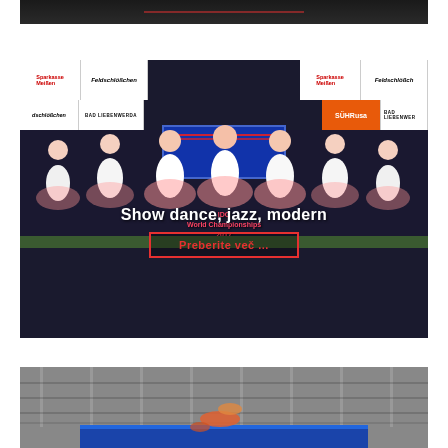[Figure (photo): Top portion of a dance performance photo, dark background with a red underlined link visible]
[Figure (photo): Dance competition photo showing young girls in white and pink tutus performing ballet on stage. Sponsor banners visible: Sparkasse Meißen, Feldschlößchen, Bad Liebenwerda, Sühr. Text overlay reads 'Show dance, jazz, modern' with a red-bordered button 'Preberite več ...']
[Figure (photo): Bottom dance/gymnastics competition photo showing performers in a large venue with metallic/grey interior]